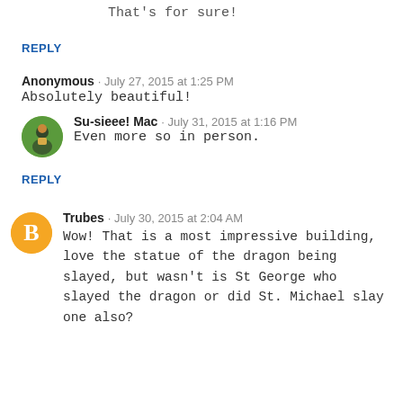That's for sure!
REPLY
Anonymous · July 27, 2015 at 1:25 PM
Absolutely beautiful!
Su-sieee! Mac · July 31, 2015 at 1:16 PM
Even more so in person.
REPLY
Trubes · July 30, 2015 at 2:04 AM
Wow! That is a most impressive building, love the statue of the dragon being slayed, but wasn't is St George who slayed the dragon or did St. Michael slay one also?